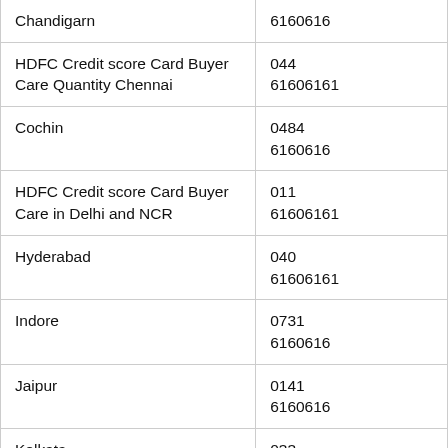| Location/Description | Phone |
| --- | --- |
| Chandigarn | 6160616 |
| HDFC Credit score Card Buyer Care Quantity Chennai | 044
61606161 |
| Cochin | 0484
6160616 |
| HDFC Credit score Card Buyer Care in Delhi and NCR | 011
61606161 |
| Hyderabad | 040
61606161 |
| Indore | 0731
6160616 |
| Jaipur | 0141
6160616 |
| Kolkata | 033
61606161 |
|  | 0522 |